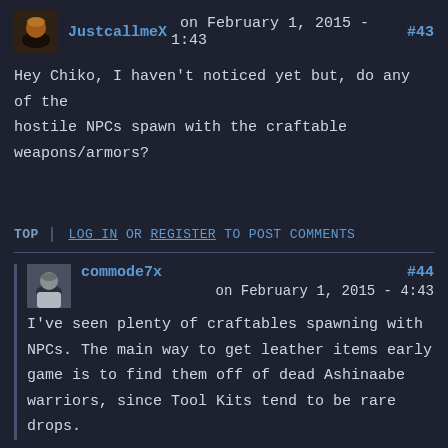JustcallmeX on February 1, 2015 - 1:43  #43
Hey Chiko, I haven't noticed yet but, do any of the hostile NPCs spawn with the craftable weapons/armors?
TOP   LOG IN OR REGISTER TO POST COMMENTS
commode7x  #44
on February 1, 2015 - 4:43
I've seen plenty of craftables spawning with NPCs. The main way to get leather items early game is to find them off of dead Ashinaabe warriors, since Tool Kits tend to be rare drops.